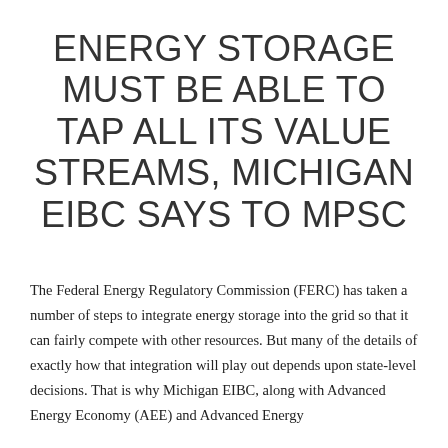ENERGY STORAGE MUST BE ABLE TO TAP ALL ITS VALUE STREAMS, MICHIGAN EIBC SAYS TO MPSC
The Federal Energy Regulatory Commission (FERC) has taken a number of steps to integrate energy storage into the grid so that it can fairly compete with other resources. But many of the details of exactly how that integration will play out depends upon state-level decisions. That is why Michigan EIBC, along with Advanced Energy Economy (AEE) and Advanced Energy…